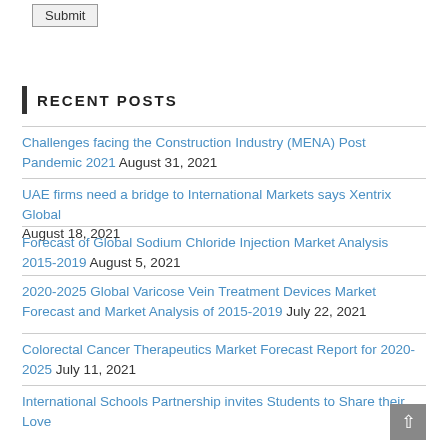Submit
RECENT POSTS
Challenges facing the Construction Industry (MENA) Post Pandemic 2021 August 31, 2021
UAE firms need a bridge to International Markets says Xentrix Global August 18, 2021
Forecast of Global Sodium Chloride Injection Market Analysis 2015-2019 August 5, 2021
2020-2025 Global Varicose Vein Treatment Devices Market Forecast and Market Analysis of 2015-2019 July 22, 2021
Colorectal Cancer Therapeutics Market Forecast Report for 2020-2025 July 11, 2021
International Schools Partnership invites Students to Share their Love